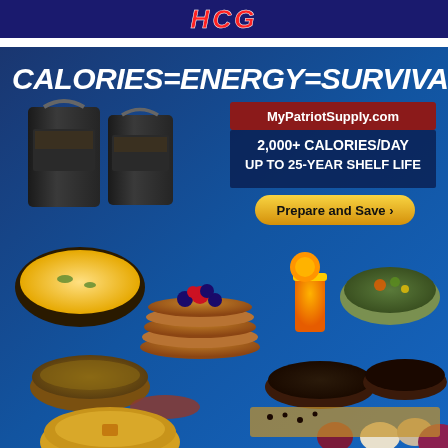[Figure (advertisement): Top banner with red stylized text on dark blue background showing 'HCG' or similar logo text]
[Figure (advertisement): MyPatriotSupply food storage advertisement. Blue background with large white italic bold text 'CALORIES=ENERGY=SURVIVAL'. Shows two black buckets of emergency food storage, website 'MyPatriotSupply.com' in red banner, white text '2,000+ CALORIES/DAY UP TO 25-YEAR SHELF LIFE', gold oval CTA button 'Prepare and Save ›'. Bottom half shows various food items: scrambled eggs, fruit and berry pancakes, soup, beans, orange juice, vegetable stew in bowls and pans, plus garlic and onions.]